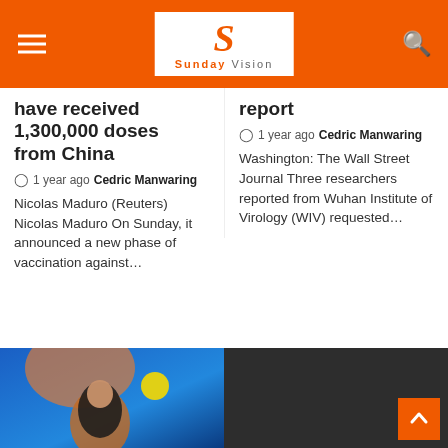Sunday Vision
have received 1,300,000 doses from China
1 year ago  Cedric Manwaring
Nicolas Maduro (Reuters) Nicolas Maduro On Sunday, it announced a new phase of vaccination against...
report
1 year ago  Cedric Manwaring
Washington: The Wall Street Journal Three researchers reported from Wuhan Institute of Virology (WIV) requested...
[Figure (photo): Person standing in front of colorful mural with orange and blue background]
[Figure (photo): Dark background with orange back-to-top button arrow]